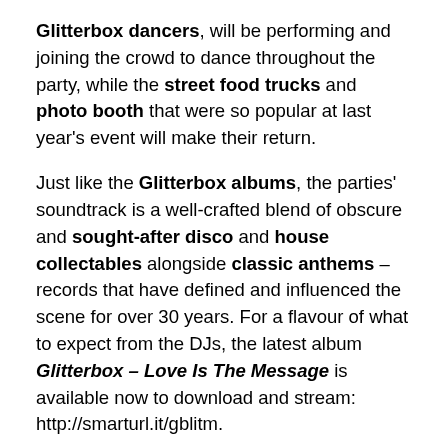Glitterbox dancers, will be performing and joining the crowd to dance throughout the party, while the street food trucks and photo booth that were so popular at last year's event will make their return.
Just like the Glitterbox albums, the parties' soundtrack is a well-crafted blend of obscure and sought-after disco and house collectables alongside classic anthems – records that have defined and influenced the scene for over 30 years. For a flavour of what to expect from the DJs, the latest album Glitterbox – Love Is The Message is available now to download and stream: http://smarturl.it/gblitm.
For its fourth season in Ibiza, Glitterbox